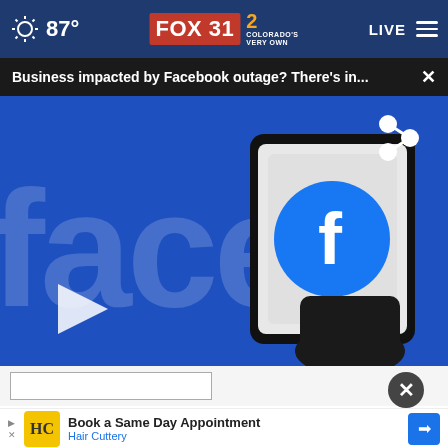87° FOX 31 2 Colorado's Very Own LIVE
Business impacted by Facebook outage? There's in... ×
[Figure (screenshot): Facebook logo sign with a hand holding a smartphone displaying the Facebook app icon. Blue background with large Facebook wordmark letters visible. A play button is shown in the lower left, and a share icon in the upper right.]
[Figure (screenshot): Advertisement banner: Hair Cuttery logo with yellow background and HC letters. Text reads 'Book a Same Day Appointment' with a blue navigation arrow icon. 'Hair Cuttery' text in blue below.]